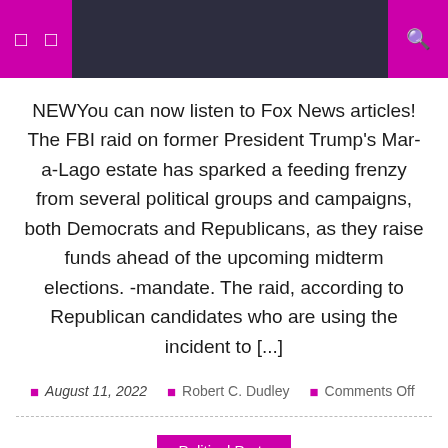Navigation header with icons and search
NEWYou can now listen to Fox News articles! The FBI raid on former President Trump's Mar-a-Lago estate has sparked a feeding frenzy from several political groups and campaigns, both Democrats and Republicans, as they raise funds ahead of the upcoming midterm elections. -mandate. The raid, according to Republican candidates who are using the incident to [...]
August 11, 2022  Robert C. Dudley  Comments Off
Political Party
Nitish Kumar wanted to be vice presidentBa a political party, resented us for refusing to listen: